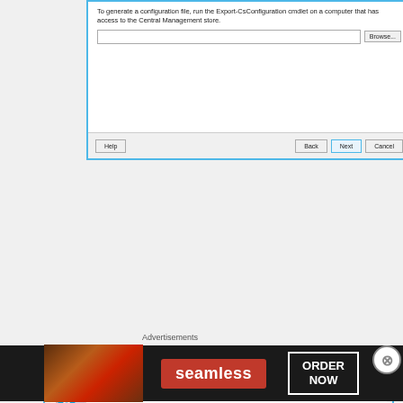[Figure (screenshot): Top portion of a Windows dialog box with text about generating a configuration file using Export-CsConfiguration cmdlet, a text input field, a Browse button, and Help/Back/Next/Cancel buttons at the bottom.]
[Figure (screenshot): Install Local Configuration Store dialog showing Executing Commands section with Skype for Business icon, and a log output area displaying replica service status messages and Replicate-CsCmsCertificates command.]
Advertisements
[Figure (photo): Seamless food delivery advertisement banner with pizza image on left, Seamless logo in red center, and ORDER NOW button on right with dark background.]